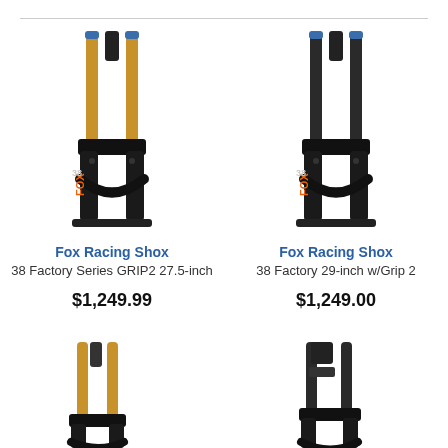[Figure (photo): Fox Racing Shox 38 Factory Series GRIP2 27.5-inch mountain bike fork, black with gold stanchions]
Fox Racing Shox
38 Factory Series GRIP2 27.5-inch
$1,249.99
[Figure (photo): Fox Racing Shox 38 Factory 29-inch w/Grip 2 mountain bike fork, black finish]
Fox Racing Shox
38 Factory 29-inch w/Grip 2
$1,249.00
[Figure (photo): Fox Racing Shox mountain bike fork, black with gold stanchions, partially visible]
[Figure (photo): Fox Racing Shox mountain bike fork, black finish, partially visible]